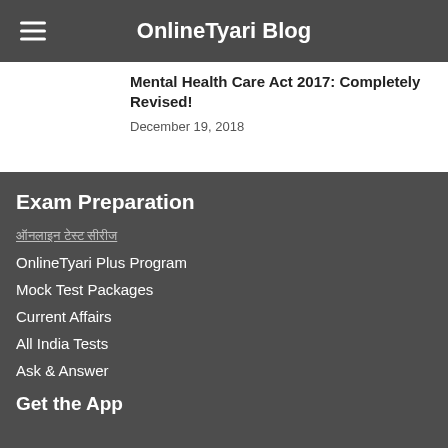OnlineTyari Blog
Mental Health Care Act 2017: Completely Revised!
December 19, 2018
Exam Preparation
ऑनलाइन टेस्ट सीरीज
OnlineTyari Plus Program
Mock Test Packages
Current Affairs
All India Tests
Ask & Answer
Get the App